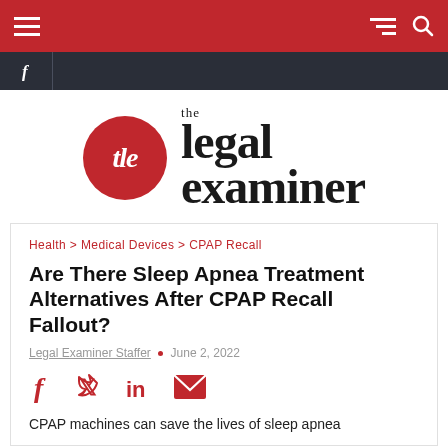The Legal Examiner — navigation bar
[Figure (logo): The Legal Examiner logo: red circle with 'tle' text and serif wordmark 'the legal examiner']
Health > Medical Devices > CPAP Recall
Are There Sleep Apnea Treatment Alternatives After CPAP Recall Fallout?
Legal Examiner Staffer • June 2, 2022
[Figure (infographic): Social share icons: Facebook, Twitter, LinkedIn, Email]
CPAP machines can save the lives of sleep apnea